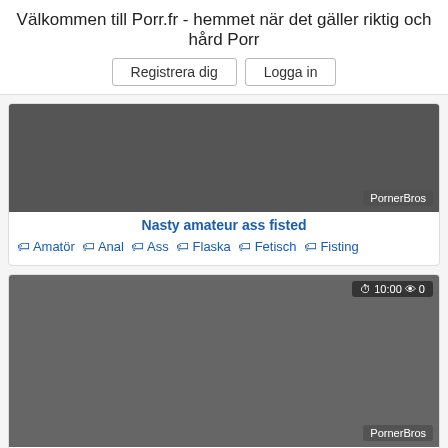Välkommen till Porr.fr - hemmet när det gäller riktig och hård Porr
Registrera dig | Logga in
[Figure (photo): Thumbnail image for 'Nasty amateur ass fisted' with PornerBros watermark]
Nasty amateur ass fisted
Amatör  Anal  Ass  Flaska  Fetisch  Fisting
[Figure (photo): Thumbnail image for 'Kinky babe fucked hard' with duration 10:00, views 0, PornerBros watermark]
Kinky babe fucked hard
Babe  Bdsm  Brittisk  Närbild  Cum  Cumshot
[Figure (photo): Thumbnail image partially visible with duration 10:10, views 0]